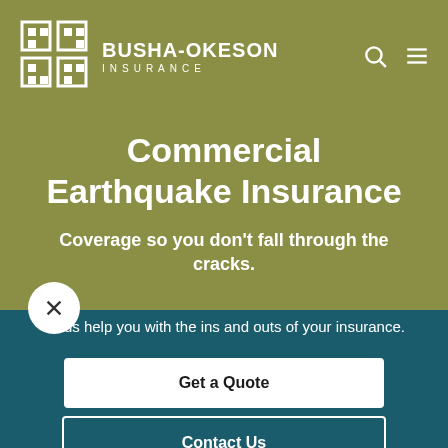[Figure (logo): Busha-Okeson Insurance logo with grid icon and text]
Commercial Earthquake Insurance
Coverage so you don't fall through the cracks.
.et us help you with the ins and outs of your insurance.
Get a Quote
Contact Us